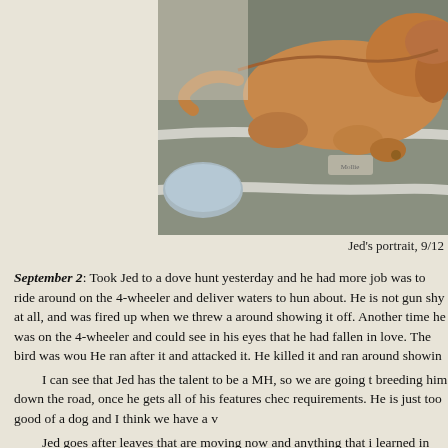[Figure (photo): A brown/tan dog lying on a gray pet blanket/bed, photographed from above. The dog appears to be a Labrador or similar breed.]
Jed's portrait, 9/12
September 2: Took Jed to a dove hunt yesterday and he had more job was to ride around on the 4-wheeler and deliver waters to hun about. He is not gun shy at all, and was fired up when we threw a around showing it off. Another time he was on the 4-wheeler and could see in his eyes that he had fallen in love. The bird was wou He ran after it and attacked it. He killed it and ran around showin I can see that Jed has the talent to be a MH, so we are going t breeding him down the road, once he gets all of his features chec requirements. He is just too good of a dog and I think we have a v Jed goes after leaves that are moving now and anything that learned in that one outing. There is no doubt that that is what he v hunting.